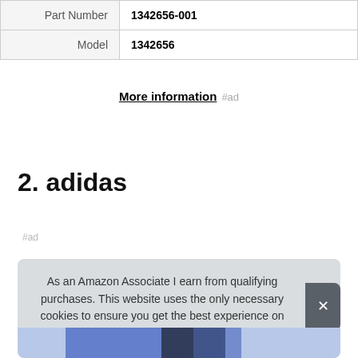| Part Number | 1342656-001 |
| Model | 1342656 |
More information #ad
2. adidas
#ad
As an Amazon Associate I earn from qualifying purchases. This website uses the only necessary cookies to ensure you get the best experience on our website. More information
[Figure (photo): Bottom portion of an adidas product image showing blue and black colors]